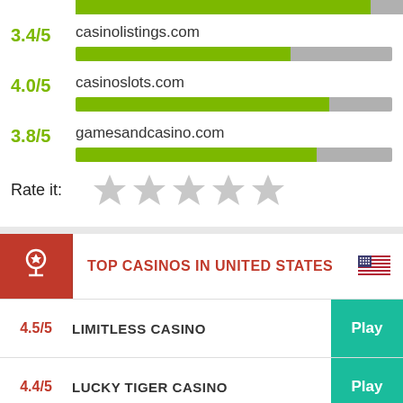3.4/5 — casinolistings.com
4.0/5 — casinoslots.com
3.8/5 — gamesandcasino.com
Rate it:
TOP CASINOS IN UNITED STATES
4.5/5 — LIMITLESS CASINO — Play
4.4/5 — LUCKY TIGER CASINO — Play
4.3/5 — RICH PALMS CASINO — Play